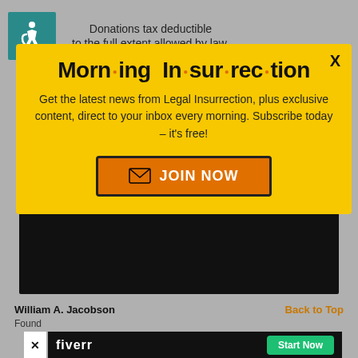[Figure (infographic): Wheelchair accessibility icon in teal square]
Donations tax deductible to the full extent allowed by law.
[Figure (screenshot): Dark background area of webpage behind popup modal]
[Figure (infographic): Morning Insurrection email newsletter signup popup modal with yellow background. Title reads 'Morn·ing In·sur·rec·tion' with orange dots. Body text: 'Get the latest news from Legal Insurrection, plus exclusive content, direct to your inbox every morning. Subscribe today – it's free!' With JOIN NOW button in orange.]
William A. Jacobson
Found
Back to Top
[Figure (infographic): Fiverr advertisement bar with fiverr logo and Start Now button]